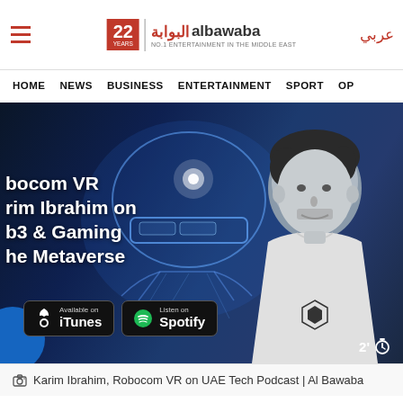Al Bawaba - 22 Years - albawaba - HOME NEWS BUSINESS ENTERTAINMENT SPORT OP - عربي
[Figure (photo): Hero image for Al Bawaba article about Robocom VR featuring Karim Ibrahim on UAE Tech Podcast. Dark blue background with VR helmet hologram and man in white t-shirt. Text overlay reads: bocom VR, rim Ibrahim on, b3 & Gaming, he Metaverse. iTunes and Spotify download badges shown at bottom. Timer shows 2 minutes.]
Karim Ibrahim, Robocom VR on UAE Tech Podcast | Al Bawaba